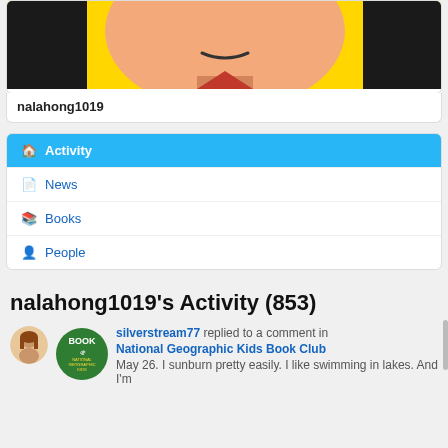[Figure (illustration): Cartoon avatar of a girl with dark hair on yellow background, cropped to show lower face and neck]
nalahong1019
Activity
News
Books
People
nalahong1019's Activity (853)
silverstream77 replied to a comment in National Geographic Kids Book Club
May 26. I sunburn pretty easily. I like swimming in lakes. And I'm